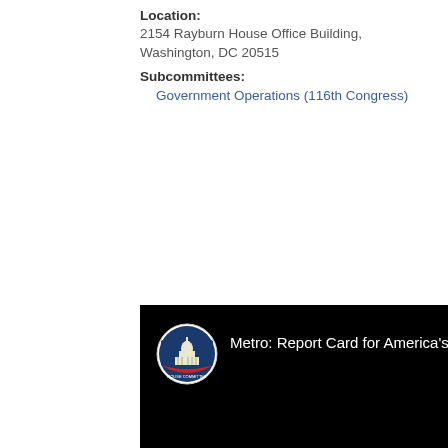Location:
2154 Rayburn House Office Building, Washington, DC 20515
Subcommittees:
Government Operations (116th Congress)
[Figure (screenshot): Black video panel with US Capitol building circular logo on the left and white text reading 'Metro: Report Card for America's Subway' on a black background]